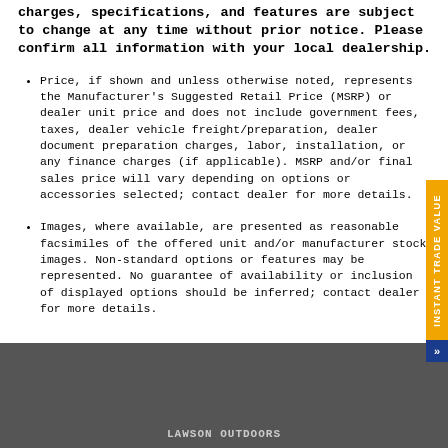charges, specifications, and features are subject to change at any time without prior notice. Please confirm all information with your local dealership.
Price, if shown and unless otherwise noted, represents the Manufacturer's Suggested Retail Price (MSRP) or dealer unit price and does not include government fees, taxes, dealer vehicle freight/preparation, dealer document preparation charges, labor, installation, or any finance charges (if applicable). MSRP and/or final sales price will vary depending on options or accessories selected; contact dealer for more details.
Images, where available, are presented as reasonable facsimiles of the offered unit and/or manufacturer stock images. Non-standard options or features may be represented. No guarantee of availability or inclusion of displayed options should be inferred; contact dealer for more details.
LAWSON OUTDOORS